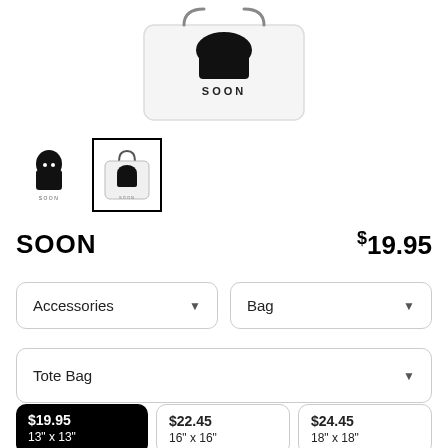[Figure (photo): Product photo of a white tote bag with a grim reaper illustration and the word SOON printed on it]
[Figure (photo): Thumbnail of grim reaper SOON design (small figure with hood and skull)]
[Figure (photo): Thumbnail (selected) of white tote bag with grim reaper SOON design on handle, shown with border]
SOON
$19.95
Accessories
Bag
Tote Bag
$19.95
13" x 13"
$22.45
16" x 16"
$24.45
18" x 18"